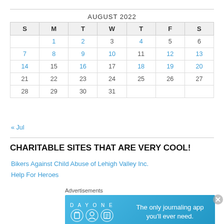AUGUST 2022
| S | M | T | W | T | F | S |
| --- | --- | --- | --- | --- | --- | --- |
|  | 1 | 2 | 3 | 4 | 5 | 6 |
| 7 | 8 | 9 | 10 | 11 | 12 | 13 |
| 14 | 15 | 16 | 17 | 18 | 19 | 20 |
| 21 | 22 | 23 | 24 | 25 | 26 | 27 |
| 28 | 29 | 30 | 31 |  |  |  |
« Jul
CHARITABLE SITES THAT ARE VERY COOL!
Bikers Against Child Abuse of Lehigh Valley Inc.
Help For Heroes
[Figure (screenshot): Advertisement banner for Day One journaling app with blue background and icons]